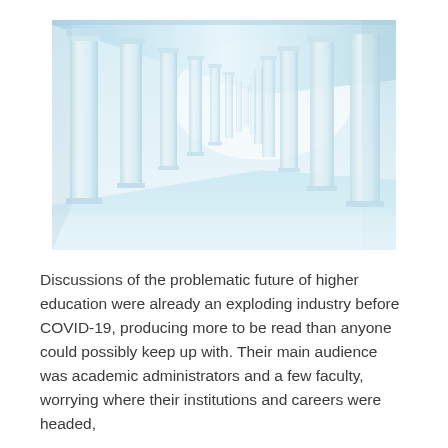[Figure (photo): Perspective view of a long colonnade of classical white Corinthian columns receding into the distance on both sides, with a white ceiling overhead and reflective pale floor below. The image is rendered in light blue-white tones giving a clean, architectural feel.]
Discussions of the problematic future of higher education were already an exploding industry before COVID-19, producing more to be read than anyone could possibly keep up with. Their main audience was academic administrators and a few faculty, worrying where their institutions and careers were headed,